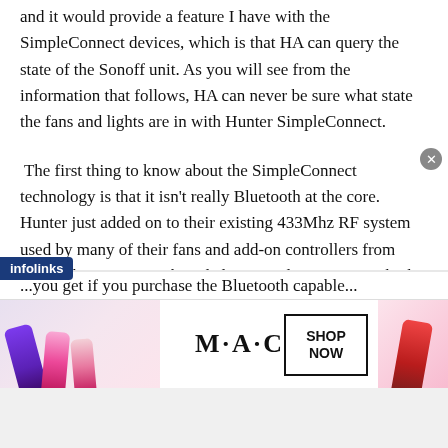and it would provide a feature I have with the SimpleConnect devices, which is that HA can query the state of the Sonoff unit. As you will see from the information that follows, HA can never be sure what state the fans and lights are in with Hunter SimpleConnect.
The first thing to know about the SimpleConnect technology is that it isn’t really Bluetooth at the core. Hunter just added on to their existing 433Mhz RF system used by many of their fans and add-on controllers from before they ever even branded it “SimpleConnect,” I think.
[Figure (screenshot): Infolinks advertisement bar with partial text below it reading '...you get if you purchase the Bluetooth capable...']
[Figure (photo): M.A.C cosmetics advertisement banner showing lipsticks on left and right sides, M.A.C logo in center, and a SHOP NOW button in a box.]